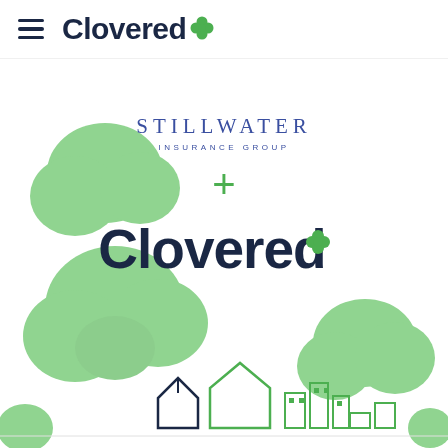[Figure (logo): Clovered logo with hamburger menu in page header]
[Figure (illustration): Stillwater Insurance Group logo plus Clovered logo combination, with decorative green cloud/tree shapes and a small cityscape at the bottom]